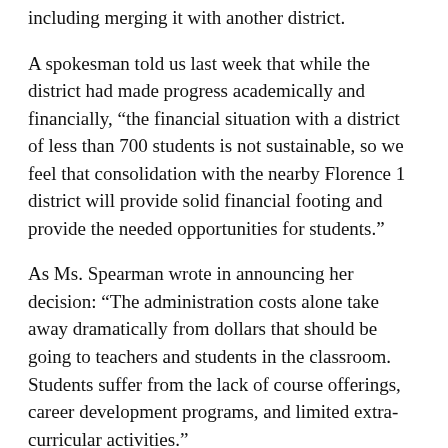including merging it with another district.
A spokesman told us last week that while the district had made progress academically and financially, “the financial situation with a district of less than 700 students is not sustainable, so we feel that consolidation with the nearby Florence 1 district will provide solid financial footing and provide the needed opportunities for students.”
As Ms. Spearman wrote in announcing her decision: “The administration costs alone take away dramatically from dollars that should be going to teachers and students in the classroom. Students suffer from the lack of course offerings, career development programs, and limited extra-curricular activities.”
Predictably, the move upset some local officials. But even school board members who objected told The Florence Morning News that their objection was to the process, not the merger itself.